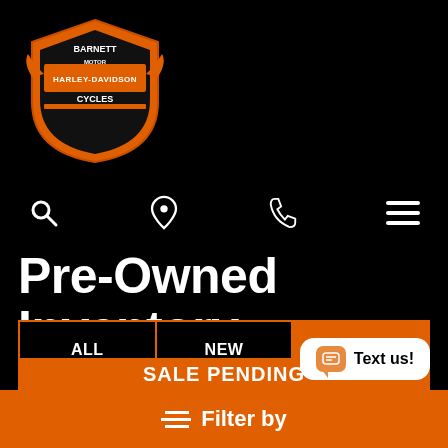[Figure (logo): Barnett Harley-Davidson Cycles logo - orange and black shield with wings]
[Figure (other): Navigation icons: search (magnifying glass), location pin, phone, hamburger menu]
Pre-Owned Inventory
ALL | NEW | PRE-OWNED (tab bar, PRE-OWNED selected)
Showing 61 - 72 of 108 results
Price  Ascending
SALE PENDING
≡ Filter by
Text us!